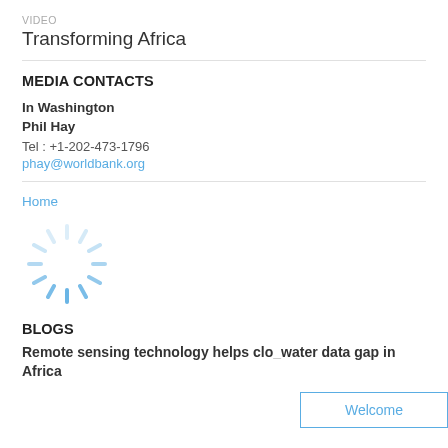VIDEO
Transforming Africa
MEDIA CONTACTS
In Washington
Phil Hay
Tel : +1-202-473-1796
phay@worldbank.org
Home
[Figure (other): Loading spinner animation icon]
BLOGS
Remote sensing technology helps clo... water data gap in Africa
Welcome